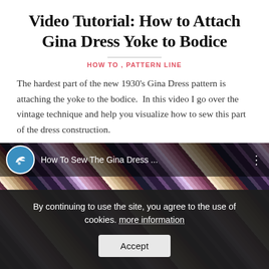Video Tutorial: How to Attach Gina Dress Yoke to Bodice
HOW TO , PATTERN LINE
The hardest part of the new 1930's Gina Dress pattern is attaching the yoke to the bodice. In this video I go over the vintage technique and help you visualize how to sew this part of the dress construction.
[Figure (screenshot): YouTube video thumbnail showing a fabric with bold black and white diagonal stripe pattern. Video title bar shows WHP logo and text 'How To Sew The Gina Dress ...' A cookie consent overlay bar reads 'By continuing to use the site, you agree to the use of cookies. more information' with an Accept button.]